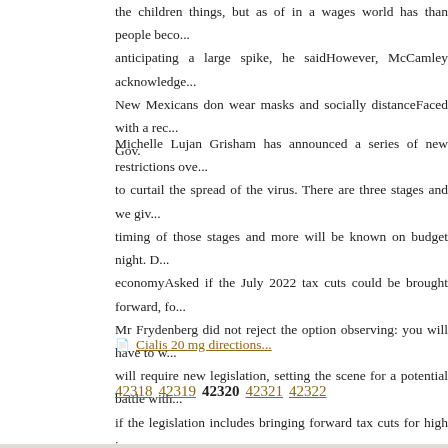the children things, but as of in a wages world has than people beco... anticipating a large spike, he saidHowever, McCamley acknowledge... New Mexicans don wear masks and socially distanceFaced with a rec... Gov.
Michelle Lujan Grisham has announced a series of new restrictions ove... to curtail the spread of the virus. There are three stages and we giv... timing of those stages and more will be known on budget night. D... economyAsked if the July 2022 tax cuts could be brought forward, fo... Mr Frydenberg did not reject the option observing: you will have to w... will require new legislation, setting the scene for a potential battle with... if the legislation includes bringing forward tax cuts for high income e... 2024.
Cialis 20 mg directions...
42318 42319 42320 42321 42322